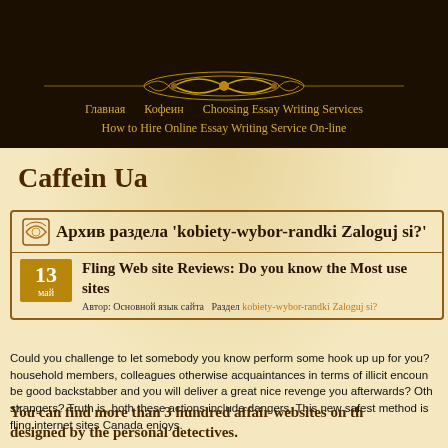Главная   Кофеин   Choosing Essay Writing Services   How to Hire Online Essay Writing Service On-line
Caffein Ua
Архив раздела 'kobiety-wybor-randki Zaloguj si?'
Fling Web site Reviews: Do you know the Most used sites
Автор: Основной язык сайта   Раздел kobiety-wybor-randki Zaloguj si?
Could you challenge to let somebody you know perform some hook up up for you? household members, colleagues otherwise acquaintances in terms of illicit encoun be good backstabber and you will deliver a great nice revenge you afterwards? Oth strangers? Truth is, both these actions include dangers. This new safest method is fling internet sites Canada enjoys.
You can find more than 3 hundred affair websites on th designed by the personal detectives.